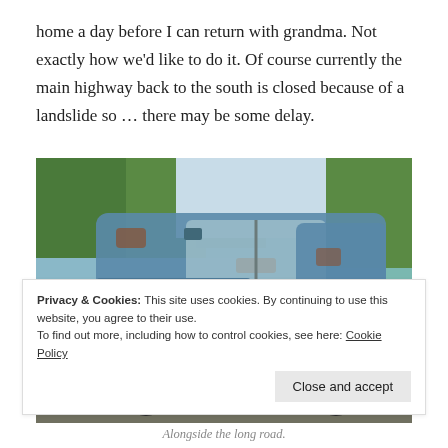home a day before I can return with grandma. Not exactly how we'd like to do it. Of course currently the main highway back to the south is closed because of a landslide so … there may be some delay.
[Figure (photo): An old rusted blue Chevrolet panel truck/van parked alongside a road with a lake and pine trees in the background.]
Privacy & Cookies: This site uses cookies. By continuing to use this website, you agree to their use.
To find out more, including how to control cookies, see here: Cookie Policy
[Close and accept button]
Alongside the long road.